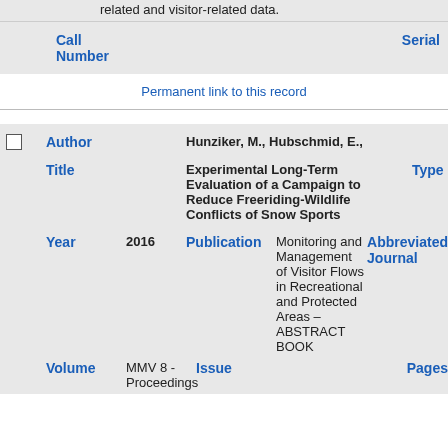related and visitor-related data.
| Call Number |  | Serial |
| --- | --- | --- |
|  |
Permanent link to this record
| Author | Hunziker, M., Hubschmid, E., |
| --- | --- |
| Title | Experimental Long-Term Evaluation of a Campaign to Reduce Freeriding-Wildlife Conflicts of Snow Sports | Type |
| Year | 2016 | Publication | Monitoring and Management of Visitor Flows in Recreational and Protected Areas – ABSTRACT BOOK | Abbreviated Journal |
| Volume | MMV 8 - Proceedings | Issue |  | Pages |